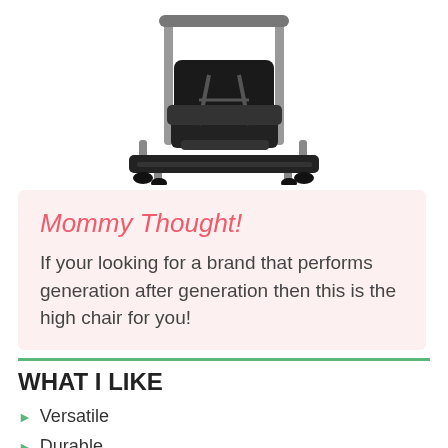[Figure (photo): Product photo of a black baby high chair with silver/gray metal frame and harness, viewed from a slight angle, on white background]
Mommy Thought!
If your looking for a brand that performs generation after generation then this is the high chair for you!
WHAT I LIKE
Versatile
Durable